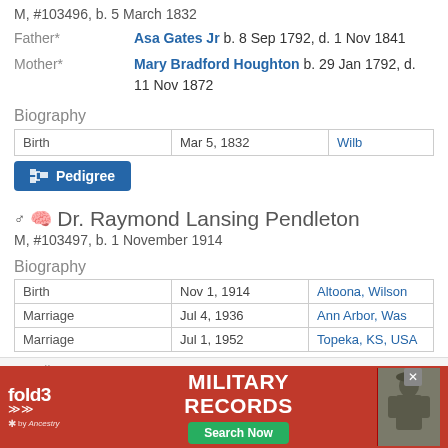M, #103496, b. 5 March 1832
Father*   Asa Gates Jr b. 8 Sep 1792, d. 1 Nov 1841
Mother*   Mary Bradford Houghton b. 29 Jan 1792, d. 11 Nov 1872
Biography
|  | Date | Place |
| --- | --- | --- |
| Birth | Mar 5, 1832 | Wilb... |
Pedigree
Dr. Raymond Lansing Pendleton  M, #103497, b. 1 November 1914
Biography
|  | Date | Place |
| --- | --- | --- |
| Birth | Nov 1, 1914 | Altoona, Wilson... |
| Marriage | Jul 4, 1936 | Ann Arbor, Was... |
| Marriage | Jul 1, 1952 | Topeka, KS, USA |
Family ... 1914
Marria...
[Figure (screenshot): fold3 Military Records advertisement banner with red background, fold3 logo, MILITARY RECORDS text, Search Now button, and soldier photo]